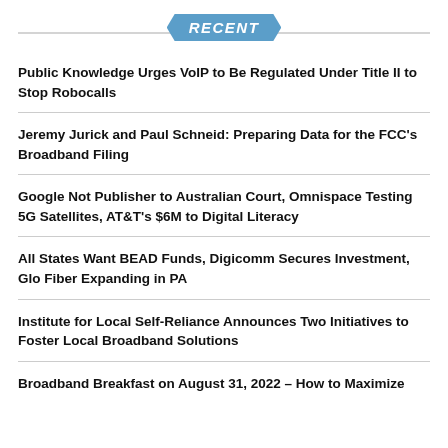RECENT
Public Knowledge Urges VoIP to Be Regulated Under Title II to Stop Robocalls
Jeremy Jurick and Paul Schneid: Preparing Data for the FCC's Broadband Filing
Google Not Publisher to Australian Court, Omnispace Testing 5G Satellites, AT&T's $6M to Digital Literacy
All States Want BEAD Funds, Digicomm Secures Investment, Glo Fiber Expanding in PA
Institute for Local Self-Reliance Announces Two Initiatives to Foster Local Broadband Solutions
Broadband Breakfast on August 31, 2022 – How to Maximize